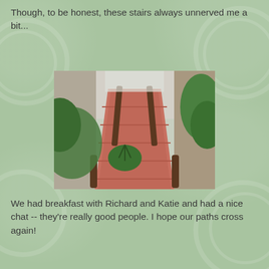Though, to be honest, these stairs always unnerved me a bit...
[Figure (photo): Looking down a steep outdoor staircase with red-painted steps, wooden handrails, surrounded by tropical vegetation and stone walls]
We had breakfast with Richard and Katie and had a nice chat -- they're really good people. I hope our paths cross again!
Then all too soon it was time to go -- Abdul arrived, right on time, and swept us off to Stone Town. We walked in to Emerson Spice like old friends  -- and shown to our new room, Desdemona, on the top floor.